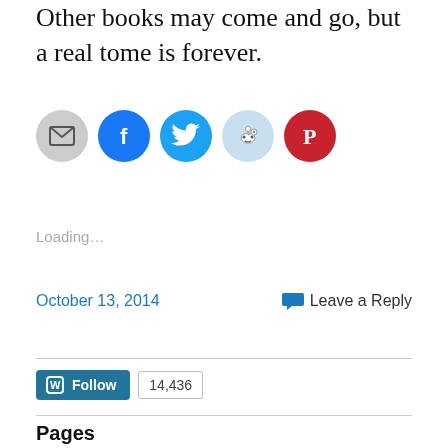Other books may come and go, but a real tome is forever.
[Figure (other): Row of social sharing icon buttons: email (grey circle), Facebook (blue circle), Twitter (cyan circle), Reddit (light blue circle), Pinterest (red circle)]
Loading…
October 13, 2014
Leave a Reply
[Figure (other): WordPress Follow button with follower count badge showing 14,436]
Pages
About me
About Inventor of the Future